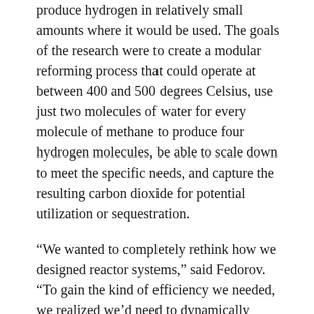produce hydrogen in relatively small amounts where it would be used. The goals of the research were to create a modular reforming process that could operate at between 400 and 500 degrees Celsius, use just two molecules of water for every molecule of methane to produce four hydrogen molecules, be able to scale down to meet the specific needs, and capture the resulting carbon dioxide for potential utilization or sequestration.
“We wanted to completely rethink how we designed reactor systems,” said Fedorov. “To gain the kind of efficiency we needed, we realized we’d need to dynamically change the volume of the reactor vessel. We looked at existing mechanical systems that could do this, and realized that this capability could be found in a system that has had more than a century of improvements: the internal combustion engine.”
The CHAMP system could be scaled up or down to produce the hundreds of kilograms of hydrogen per day required for a typical automotive refueling station – or a few kilograms for an individual vehicle or residential fuel cell, Fedorov said. The volume and piston speed in the CHAMP reactor can be adjusted to meet hydrogen demands while matching the